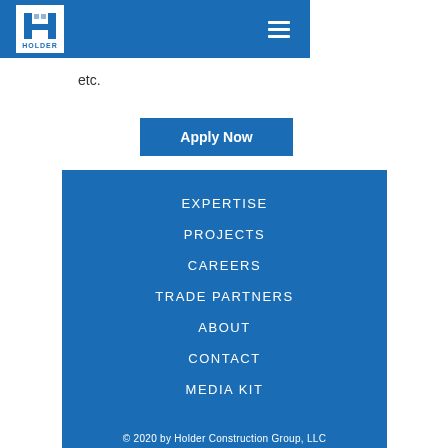Holder Construction - Header navigation
etc.
Apply Now
EXPERTISE
PROJECTS
CAREERS
TRADE PARTNERS
ABOUT
CONTACT
MEDIA KIT
© 2020 by Holder Construction Group, LLC